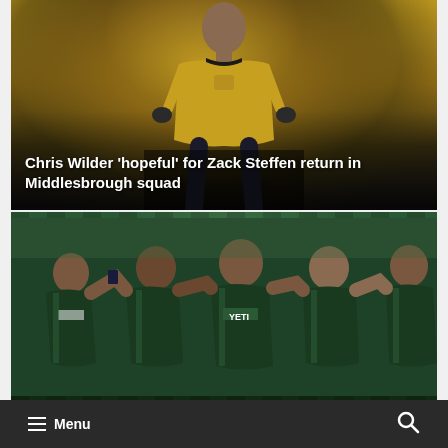[Figure (photo): Footballer in yellow/gold Middlesbrough goalkeeper kit with UNIBET sponsor, dark background, upper body visible]
Chris Wilder 'hopeful' for Zack Steffen return in Middlesbrough squad
[Figure (photo): Football players in green and black striped YETI sponsored kits celebrating together, blurred stadium background]
Menu